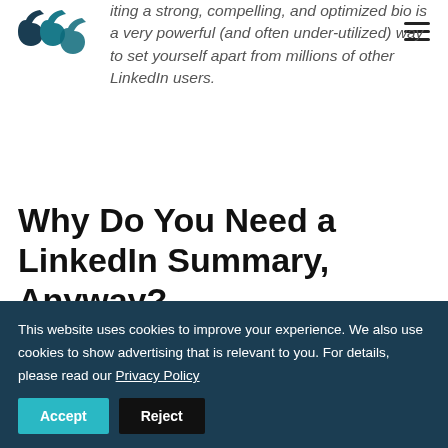[Figure (logo): Website logo with stylized quotation marks icon in teal/dark color]
iting a strong, compelling, and optimized bio is a very powerful (and often under-utilized) way to set yourself apart from millions of other LinkedIn users.
Why Do You Need a LinkedIn Summary, Anyway?
This website uses cookies to improve your experience. We also use cookies to show advertising that is relevant to you. For details, please read our Privacy Policy
Accept
Reject